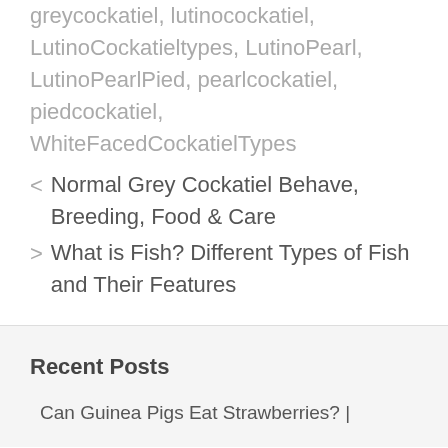greycockatiel, lutinocockatiel, LutinoCockatieltypes, LutinoPearl, LutinoPearlPied, pearlcockatiel, piedcockatiel, WhiteFacedCockatielTypes
< Normal Grey Cockatiel Behave, Breeding, Food & Care
> What is Fish? Different Types of Fish and Their Features
Recent Posts
Can Guinea Pigs Eat Strawberries? |